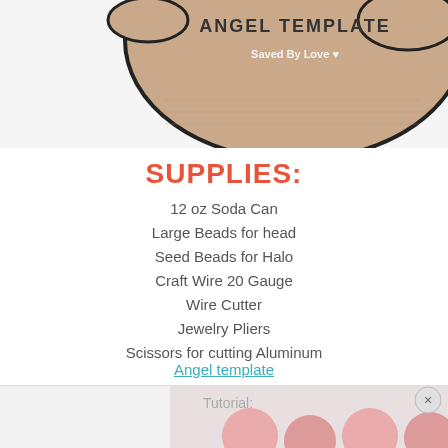[Figure (illustration): Partial view of an angel template craft project - a wooden/cardboard cutout with 'ANGEL TEMPLATE' text and 'Saved By Love Creations' branding visible at the bottom of the cutout shape.]
SUPPLIES:
12 oz Soda Can
Large Beads for head
Seed Beads for Halo
Craft Wire 20 Gauge
Wire Cutter
Jewelry Pliers
Scissors for cutting Aluminum
Angel template
Sharpie
Craft knife
Needle Tool or Bead Reamer
Masking Tape (optional)
Tutorial:
[Figure (photo): Bottom strip showing a partial photo of finished angel craft projects with pink/rose colored beads.]